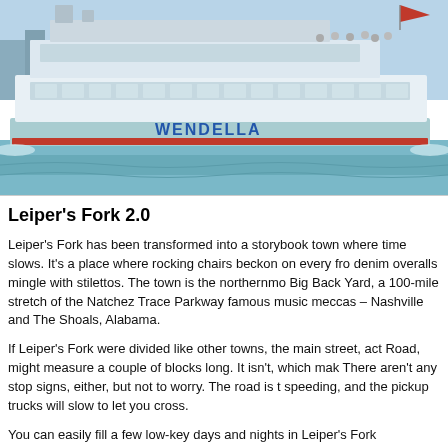[Figure (photo): A large blue and white passenger boat named WENDELLA on water with a city skyline in the background]
Leiper's Fork 2.0
Leiper's Fork has been transformed into a storybook town where time slows. It's a place where rocking chairs beckon on every fro denim overalls mingle with stilettos. The town is the northernmo Big Back Yard, a 100-mile stretch of the Natchez Trace Parkway famous music meccas – Nashville and The Shoals, Alabama.
If Leiper's Fork were divided like other towns, the main street, act Road, might measure a couple of blocks long. It isn't, which mak There aren't any stop signs, either, but not to worry. The road is t speeding, and the pickup trucks will slow to let you cross.
You can easily fill a few low-key days and nights in Leiper's Fork recommendations for your itinerary: